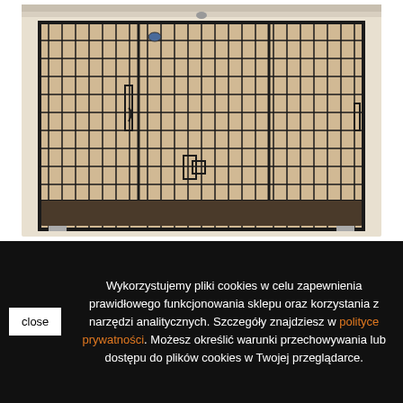[Figure (photo): A metal wire dog crate/kennel with a dark tray at the bottom, placed inside a cream/beige wooden cabinet or furniture piece. The crate is viewed from the front showing the wire grid door and interior.]
Wykorzystujemy pliki cookies w celu zapewnienia prawidłowego funkcjonowania sklepu oraz korzystania z narzędzi analitycznych. Szczegóły znajdziesz w polityce prywatności. Możesz określić warunki przechowywania lub dostępu do plików cookies w Twojej przeglądarce.